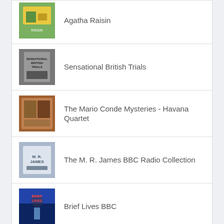Agatha Raisin
Sensational British Trials
The Mario Conde Mysteries - Havana Quartet
The M. R. James BBC Radio Collection
Brief Lives BBC
© 2022 Dimsdale Podcasts